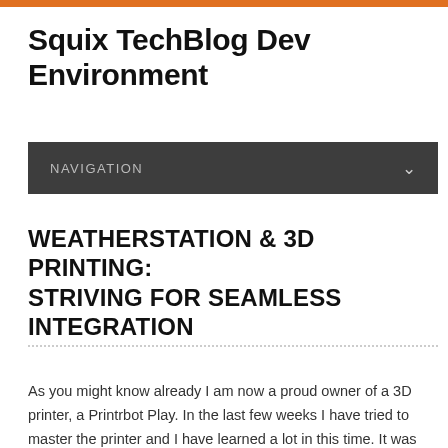Squix TechBlog Dev Environment
NAVIGATION
WEATHERSTATION & 3D PRINTING: STRIVING FOR SEAMLESS INTEGRATION
As you might know already I am now a proud owner of a 3D printer, a Printrbot Play. In the last few weeks I have tried to master the printer and I have learned a lot in this time. It was